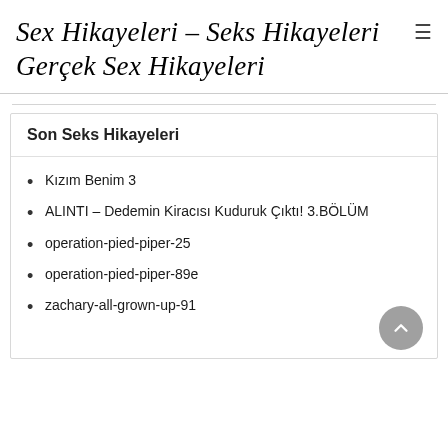Sex Hikayeleri – Seks Hikayeleri
Gerçek Sex Hikayeleri
Son Seks Hikayeleri
Kızım Benim 3
ALINTI – Dedemin Kiracısı Kuduruk Çıktı! 3.BÖLÜM
operation-pied-piper-25
operation-pied-piper-89e
zachary-all-grown-up-91